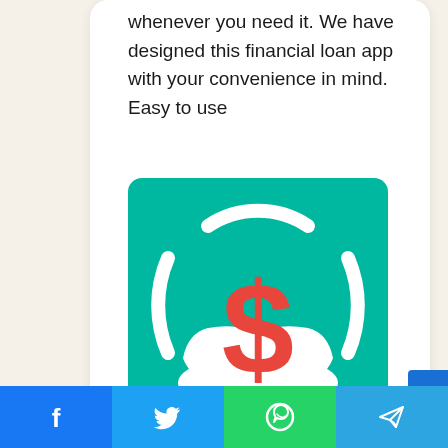whenever you need it. We have designed this financial loan app with your convenience in mind. Easy to use
[Figure (logo): Financial loan app icon: teal/green square background with a white hand holding a red dollar sign symbol with arc brackets above it]
Similarity Rate : 112 %
Similar Apps